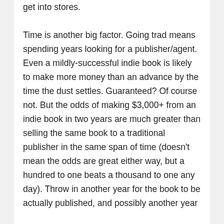get into stores.

Time is another big factor. Going trad means spending years looking for a publisher/agent. Even a mildly-successful indie book is likely to make more money than an advance by the time the dust settles. Guaranteed? Of course not. But the odds of making $3,000+ from an indie book in two years are much greater than selling the same book to a traditional publisher in the same span of time (doesn't mean the odds are great either way, but a hundred to one beats a thousand to one any day). Throw in another year for the book to be actually published, and possibly another year before the store can get (if it can even